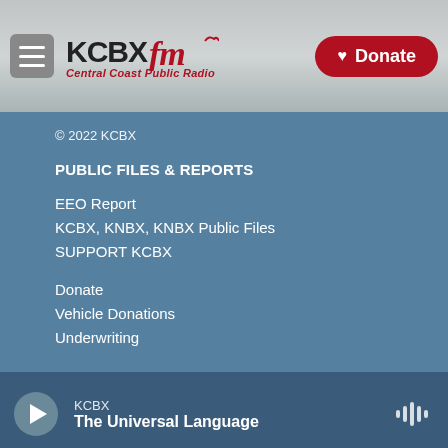[Figure (logo): KCBX FM Central Coast Public Radio logo with hamburger menu and Donate button]
© 2022 KCBX
PUBLIC FILES & REPORTS
EEO Report
KCBX, KNBX, KNBX Public Files
SUPPORT KCBX
Donate
Vehicle Donations
Underwriting
[Figure (logo): NPR, PRX, and American Public Media partner logos]
KCBX
The Universal Language